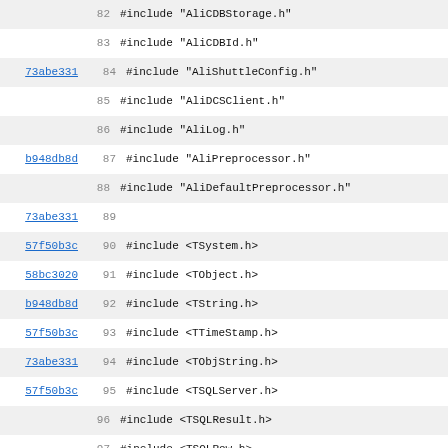[Figure (screenshot): Source code viewer showing C++ include directives and class definitions for AliShuttle, with line numbers 82-114, commit hashes on left margin (73abe331, b948db8d, 57f50b3c, 58bc3020), and alternating row background colors.]